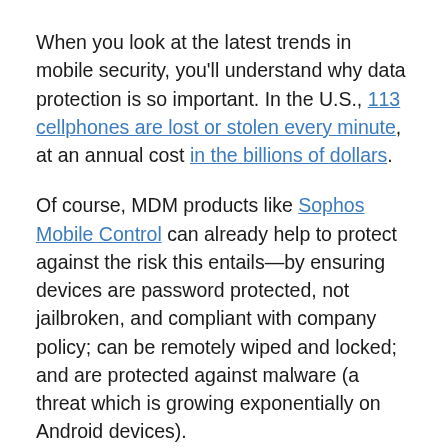When you look at the latest trends in mobile security, you'll understand why data protection is so important. In the U.S., 113 cellphones are lost or stolen every minute, at an annual cost in the billions of dollars.
Of course, MDM products like Sophos Mobile Control can already help to protect against the risk this entails—by ensuring devices are password protected, not jailbroken, and compliant with company policy; can be remotely wiped and locked; and are protected against malware (a threat which is growing exponentially on Android devices).
Another big risk companies are concerned about is what happens when the employees leave with a personal device that still has corporate data on it. That's where this new version of Sophos Mobile Control comes in...